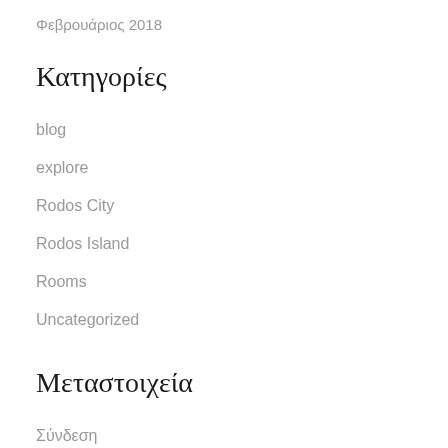Φεβρουάριος 2018
Κατηγορίες
blog
explore
Rodos City
Rodos Island
Rooms
Uncategorized
Μεταστοιχεία
Σύνδεση